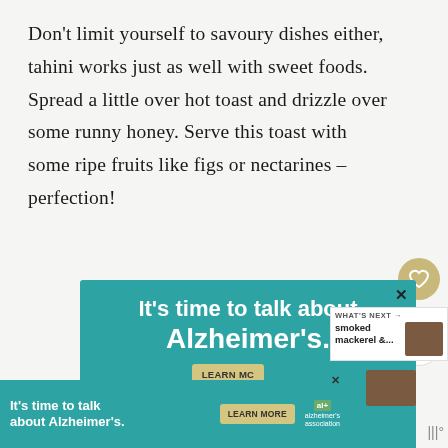Don't limit yourself to savoury dishes either, tahini works just as well with sweet foods. Spread a little over hot toast and drizzle over some runny honey. Serve this toast with some ripe fruits like figs or nectarines – perfection!
[Figure (screenshot): Teal advertisement banner for Alzheimer's Association reading 'It's time to talk about Alzheimer's.' with 'LEARN MORE' button and URL alz.org/ourstories, with illustrated elderly face graphic. Also includes social interaction elements: heart button, 223 count, share button, 'WHAT'S NEXT' panel showing smoked mackerel. A smaller duplicate bottom ad bar is also visible.]